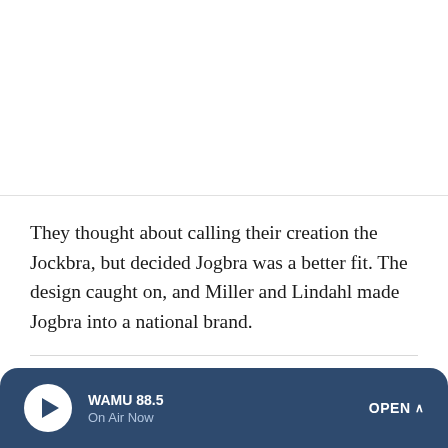They thought about calling their creation the Jockbra, but decided Jogbra was a better fit. The design caught on, and Miller and Lindahl made Jogbra into a national brand.
SPORTS
40 Years On, Title IX Still Shapes Female Athletes
[Figure (photo): Two female basketball players in action, one in a red uniform and one in an orange/white uniform, competing on the court.]
WAMU 88.5 On Air Now OPEN